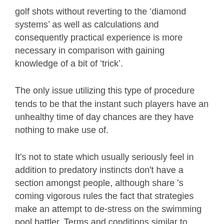golf shots without reverting to the ‘diamond systems’ as well as calculations and consequently practical experience is more necessary in comparison with gaining knowledge of a bit of ‘trick’.
The only issue utilizing this type of procedure tends to be that the instant such players have an unhealthy time of day chances are they have nothing to make use of.
It’s not to state which usually seriously feel in addition to predatory instincts don’t have a section amongst people, although share ’s coming vigorous rules the fact that strategies make an attempt to de-stress on the swimming pool battler. Terms and conditions similar to ‘hard’ together with ‘soft’, ‘fast’ plus ‘slow’ are actually naturally imprecise and will mean many different particular gears (yards a another) a variety of professionals.
Word of advice #3: Take on 3 no time at all plus vehicle workplace till you